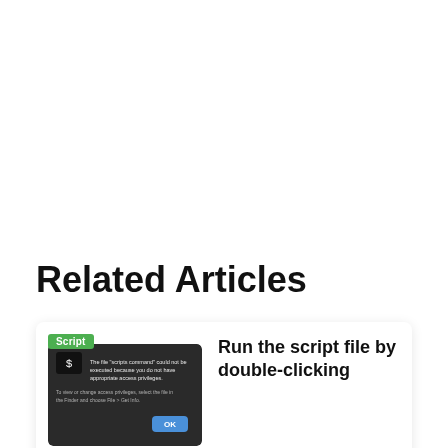Related Articles
[Figure (screenshot): Screenshot showing a macOS dialog box with the message 'The file "scripts command" could not be executed because you do not have appropriate access privileges. To view or change access privileges, select the file in the Finder and choose File > Get Info.' with an OK button. A green 'Script' badge is in the top-left corner.]
Run the script file by double-clicking
In order to execute the script file on Mac, you need to start the